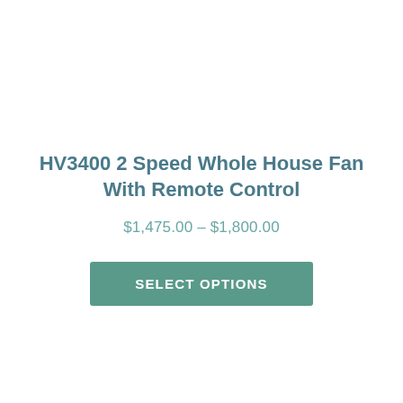HV3400 2 Speed Whole House Fan With Remote Control
$1,475.00 – $1,800.00
SELECT OPTIONS